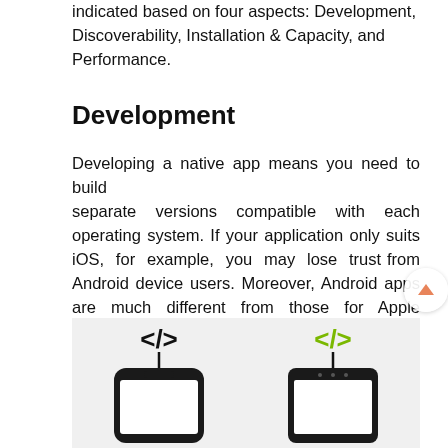indicated based on four aspects: Development, Discoverability, Installation & Capacity, and Performance.
Development
Developing a native app means you need to build separate versions compatible with each operating system. If your application only suits iOS, for example, you may lose trust from Android device users. Moreover, Android apps are much different from those for Apple devices, so you really have to double your efforts and even invest more money to build both versions.
[Figure (illustration): Two mobile phones side by side, each with a code tag icon </> above them connected by a vertical line. The left phone is an iPhone (white screen, notch), the right phone is an Android device. The left code icon is black, the right is green (#8dc63f style).]